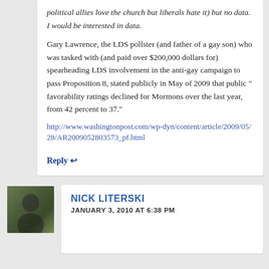political allies love the church but liberals hate it) but no data. I would be interested in data.
Gary Lawrence, the LDS pollster (and father of a gay son) who was tasked with (and paid over $200,000 dollars for) spearheading LDS involvement in the anti-gay campaign to pass Proposition 8, stated publicly in May of 2009 that public " favorability ratings declined for Mormons over the last year, from 42 percent to 37."
http://www.washingtonpost.com/wp-dyn/content/article/2009/05/28/AR2009052803573_pf.html
Reply
NICK LITERSKI
JANUARY 3, 2010 AT 6:38 PM